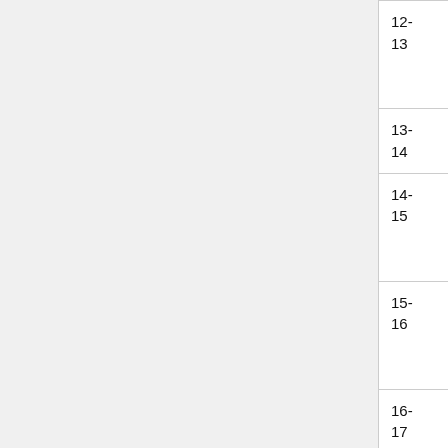| Time | Room 1 | Room 2 | Room 3 |
| --- | --- | --- | --- |
| 12-13 | Lars Aronsson | the gory details of packages - r3tex | Education on mob |
| 13-14 |  | Lunch |  |  |
| 14-15 | Amarok2

Ein Andersson | PostgreSQL - r3tex | Tango |
| 15-16 | Digital Fabrication and social change | Coreboot (Clemens) | Lightning Talks - Session |
| 16-17 | Sqeezing the Evil out of the Music industry | PrimeKey (Patrik W, Pontus A) | Wikipedia a global experiment |